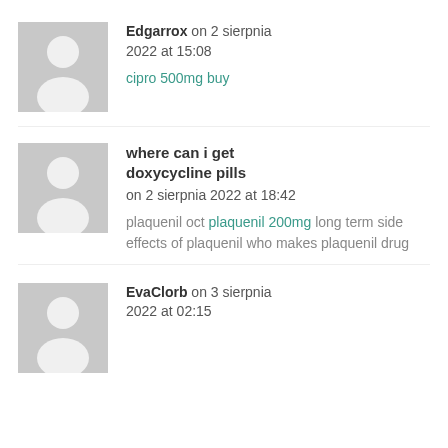[Figure (illustration): Gray placeholder avatar with person silhouette icon - comment 1]
Edgarrox on 2 sierpnia 2022 at 15:08
cipro 500mg buy
[Figure (illustration): Gray placeholder avatar with person silhouette icon - comment 2]
where can i get doxycycline pills on 2 sierpnia 2022 at 18:42
plaquenil oct plaquenil 200mg long term side effects of plaquenil who makes plaquenil drug
[Figure (illustration): Gray placeholder avatar with person silhouette icon - comment 3]
EvaClorb on 3 sierpnia 2022 at 02:15